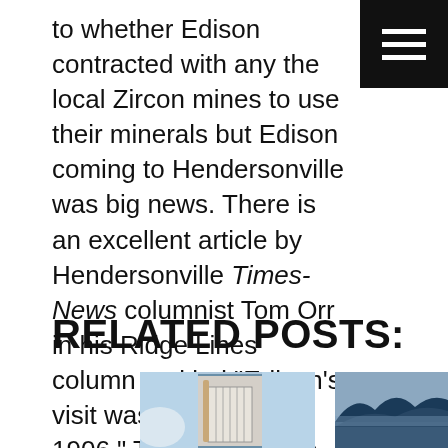to whether Edison contracted with any the local Zircon mines to use their minerals but Edison coming to Hendersonville was big news. There is an excellent article by Hendersonville Times-News columnist Tom Orr in his Ridge Lines column entitled “Edison’s visit was big news in 1906.” There is also an excellent article in
RELATED POSTS:
[Figure (photo): Photo of baseball jersey and bat displayed in a doorway]
[Figure (photo): Photo of a mountain ridge landscape]